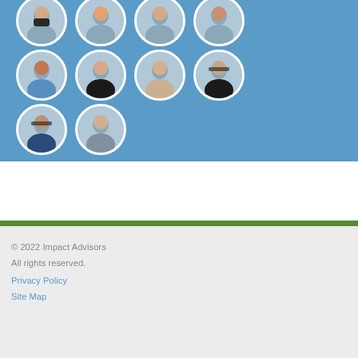[Figure (photo): Grid of circular headshot photos of team members arranged in 3 rows on a blue background. Row 1: 4 photos, Row 2: 4 photos, Row 3: 2 photos.]
© 2022 Impact Advisors
All rights reserved.
Privacy Policy
Site Map